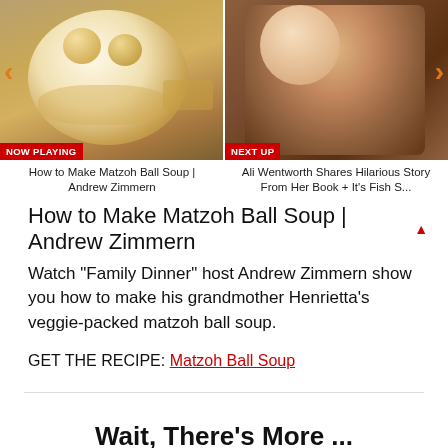[Figure (screenshot): Video carousel with two thumbnails. Left: soup bowl image with NOW PLAYING badge and left arrow. Right: woman host image with NEXT UP badge and right arrow.]
How to Make Matzoh Ball Soup | Andrew Zimmern
Ali Wentworth Shares Hilarious Story From Her Book + It's Fish S...
How to Make Matzoh Ball Soup | Andrew Zimmern
Watch "Family Dinner" host Andrew Zimmern show you how to make his grandmother Henrietta's veggie-packed matzoh ball soup.
GET THE RECIPE: Matzoh Ball Soup
Wait, There's More ...